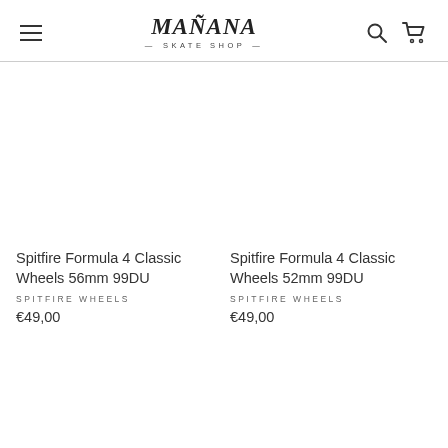Mañana Skate Shop
[Figure (photo): Empty product image area for Spitfire Formula 4 Classic Wheels 56mm 99DU]
Spitfire Formula 4 Classic Wheels 56mm 99DU
SPITFIRE WHEELS
€49,00
[Figure (photo): Empty product image area for Spitfire Formula 4 Classic Wheels 52mm 99DU]
Spitfire Formula 4 Classic Wheels 52mm 99DU
SPITFIRE WHEELS
€49,00